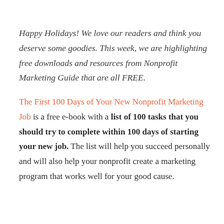Happy Holidays! We love our readers and think you deserve some goodies. This week, we are highlighting free downloads and resources from Nonprofit Marketing Guide that are all FREE.
The First 100 Days of Your New Nonprofit Marketing Job is a free e-book with a list of 100 tasks that you should try to complete within 100 days of starting your new job. The list will help you succeed personally and will also help your nonprofit create a marketing program that works well for your good cause.